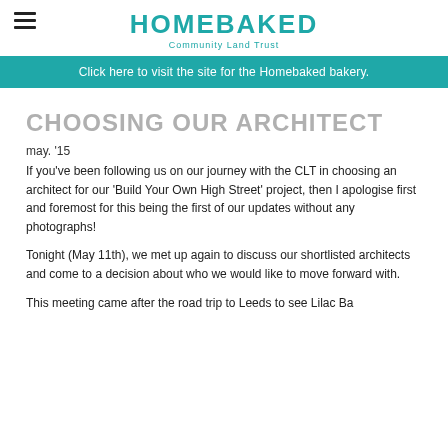HOMEBAKED Community Land Trust
Click here to visit the site for the Homebaked bakery.
CHOOSING OUR ARCHITECT
may. '15
If you've been following us on our journey with the CLT in choosing an architect for our 'Build Your Own High Street' project, then I apologise first and foremost for this being the first of our updates without any photographs!
Tonight (May 11th), we met up again to discuss our shortlisted architects and come to a decision about who we would like to move forward with.
This meeting came after the road trip to Leeds to see Lilac Ba...